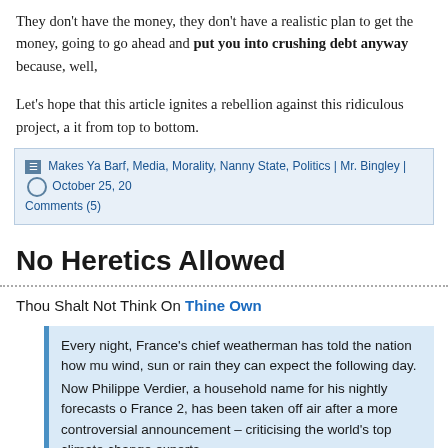They don't have the money, they don't have a realistic plan to get the money, going to go ahead and put you into crushing debt anyway because, well,
Let's hope that this article ignites a rebellion against this ridiculous project, a it from top to bottom.
Makes Ya Barf, Media, Morality, Nanny State, Politics | Mr. Bingley | October 25, 20 Comments (5)
No Heretics Allowed
Thou Shalt Not Think On Thine Own
Every night, France's chief weatherman has told the nation how mu wind, sun or rain they can expect the following day. Now Philippe Verdier, a household name for his nightly forecasts o France 2, has been taken off air after a more controversial announcement – criticising the world's top climate change experts. Mr Verdier claims in the book Climat Investigation (Climate Investiga that leading climatologists and political leaders have "taken the wor hostage" with misleading data. In a promotional video, Mr Verdier said: "Every night I address five French people to talk to you about the wind, the clouds and the sun yet there is something important, very important that I haven't bee